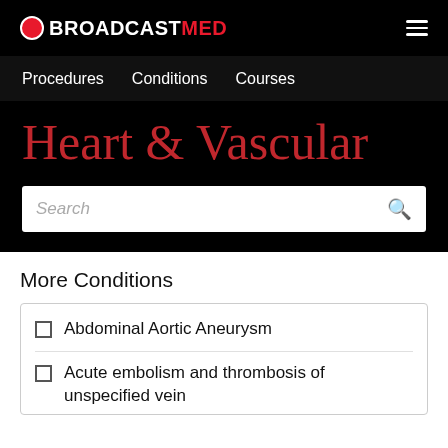BROADCASTMED
Procedures   Conditions   Courses
Heart & Vascular
Search
More Conditions
Abdominal Aortic Aneurysm
Acute embolism and thrombosis of unspecified vein